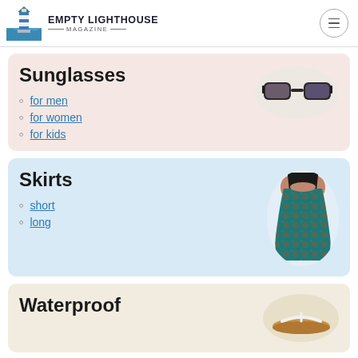EMPTY LIGHTHOUSE MAGAZINE
Sunglasses
for men
for women
for kids
Skirts
short
long
Waterproof